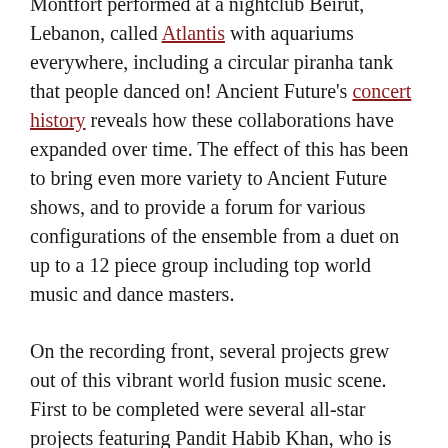Montfort performed at a nightclub Beirut, Lebanon, called Atlantis with aquariums everywhere, including a circular piranha tank that people danced on! Ancient Future's concert history reveals how these collaborations have expanded over time. The effect of this has been to bring even more variety to Ancient Future shows, and to provide a forum for various configurations of the ensemble from a duet on up to a 12 piece group including top world music and dance masters.
On the recording front, several projects grew out of this vibrant world fusion music scene. First to be completed were several all-star projects featuring Pandit Habib Khan, who is regarded as one of the best sitar players in the country today. He has produced three CDs featuring collaborations with Ancient Future leader and scalloped fretboard guitar master Matthew Montfort. The lineup also includes Indian tabla master Swapan Chaudhuri, jazz drummer Danny Gottlieb of Pat Methany fame, Persian santur master Alan Kushan, pianist Ira Stein of Windham Hill and Narada fame, George Brooks